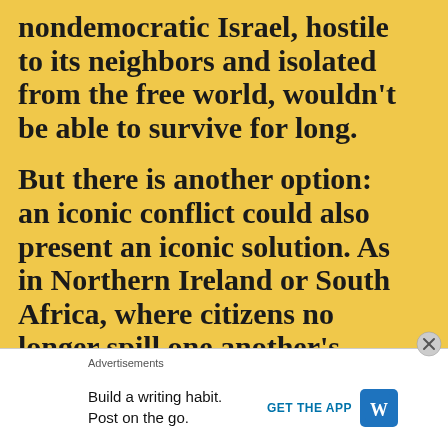nondemocratic Israel, hostile to its neighbors and isolated from the free world, wouldn't be able to survive for long.
But there is another option: an iconic conflict could also present an iconic solution. As in Northern Ireland or South Africa, where citizens no longer spill one another's blood, it will eventually become clear that many
Advertisements
Build a writing habit. Post on the go.
GET THE APP